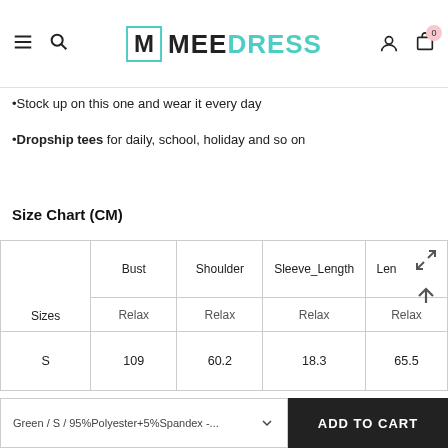MEE DRESS navigation header with hamburger, search, logo, user and cart icons
•Stock up on this one and wear it every day
•Dropship tees for daily, school, holiday and so on
Size Chart (CM)
| Sizes | Bust | Shoulder | Sleeve_Length | Len |
| --- | --- | --- | --- | --- |
|  | Relax | Relax | Relax | Relax |
| S | 109 | 60.2 | 18.3 | 65.5 |
Green / S / 95%Polyester+5%Spandex -... ADD TO CART